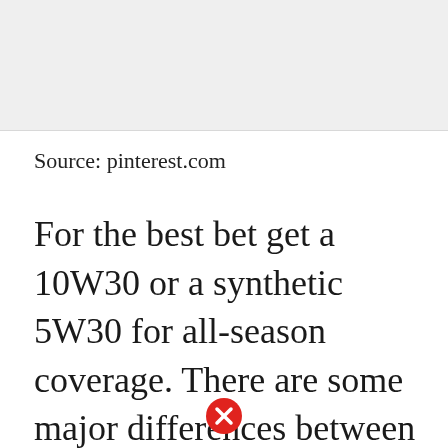[Figure (photo): Gray placeholder image area at the top of the page]
Source: pinterest.com
For the best bet get a 10W30 or a synthetic 5W30 for all-season coverage. There are some major differences between the two and you shouldnt use them interchangeably. Briggs Stratton the largest producer of engines for outdoor equipment found 48 percent of people surveyed believe automotive oil and small engine oil are the